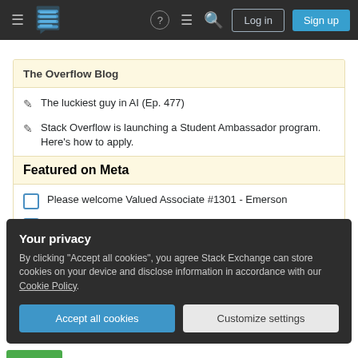Stack Overflow navigation bar with hamburger menu, logo, help, chat, search icons, Log in and Sign up buttons
The Overflow Blog
The luckiest guy in AI (Ep. 477)
Stack Overflow is launching a Student Ambassador program. Here's how to apply.
Featured on Meta
Please welcome Valued Associate #1301 - Emerson
Announcing the Stack Overflow Student Ambassador
Your privacy
By clicking "Accept all cookies", you agree Stack Exchange can store cookies on your device and disclose information in accordance with our Cookie Policy.
Accept all cookies | Customize settings